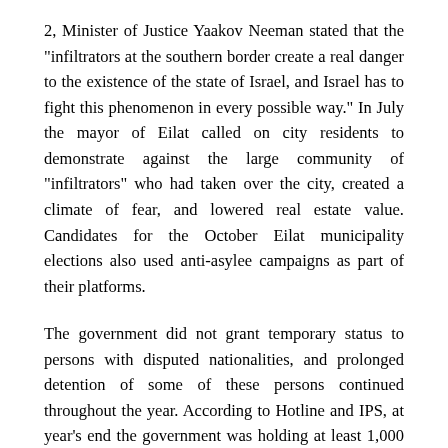2, Minister of Justice Yaakov Neeman stated that the "infiltrators at the southern border create a real danger to the existence of the state of Israel, and Israel has to fight this phenomenon in every possible way." In July the mayor of Eilat called on city residents to demonstrate against the large community of "infiltrators" who had taken over the city, created a climate of fear, and lowered real estate value. Candidates for the October Eilat municipality elections also used anti-asylee campaigns as part of their platforms.
The government did not grant temporary status to persons with disputed nationalities, and prolonged detention of some of these persons continued throughout the year. According to Hotline and IPS, at year's end the government was holding at least 1,000 asylum seekers for longer than 60 days in violation of the Entry of Israel Law. In addition authorities detained over 200 women and children in the Saaronim prison in cloth tents, with limited education services provided